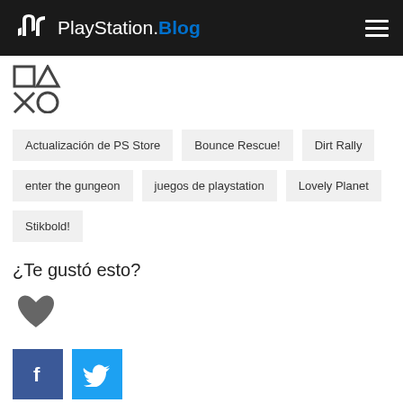PlayStation.Blog
[Figure (logo): PlayStation button symbols (square, triangle, cross, circle) in outline style]
Actualización de PS Store
Bounce Rescue!
Dirt Rally
enter the gungeon
juegos de playstation
Lovely Planet
Stikbold!
¿Te gustó esto?
[Figure (illustration): Gray heart icon (like button)]
[Figure (logo): Facebook and Twitter social share buttons]